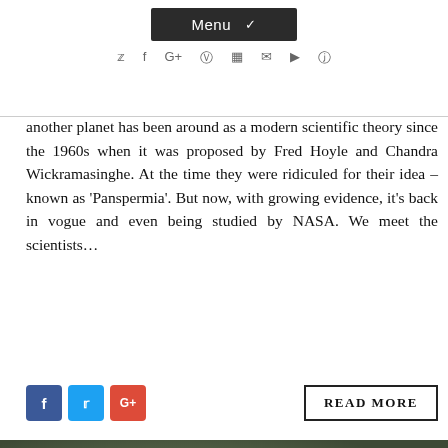Menu | social icons bar
another planet has been around as a modern scientific theory since the 1960s when it was proposed by Fred Hoyle and Chandra Wickramasinghe. At the time they were ridiculed for their idea – known as 'Panspermia'. But now, with growing evidence, it's back in vogue and even being studied by NASA. We meet the scientists…
[Figure (screenshot): Social share buttons (Facebook, Twitter, Google+) and a READ MORE button]
[Figure (photo): Close-up photograph of a succulent plant with pink flower and pebbles in a pot]